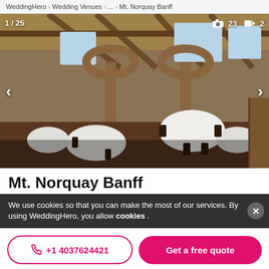WeddingHero > Wedding Venues > ... > Mt. Norquay Banff
[Figure (photo): Interior photo of Mt. Norquay Banff wedding venue showing a rustic timber-frame banquet hall with round tables set for a wedding reception. Photo counter shows 1/25 with camera icon 23 and video icon 2.]
Mt. Norquay Banff
We use cookies so that you can make the most of our services. By using WeddingHero, you allow cookies .
+1 4037624421
Get a free quote